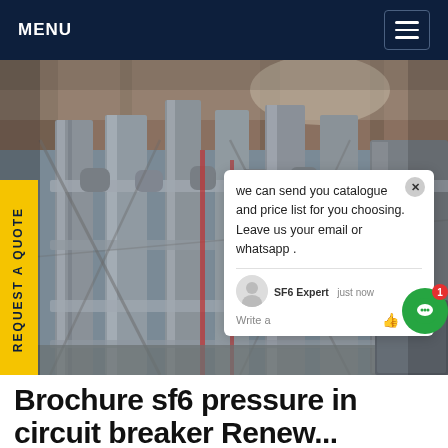MENU
[Figure (photo): Industrial facility interior showing large metallic pipes, tanks, and scaffolding inside a factory or power plant building]
REQUEST A QUOTE
we can send you catalogue and price list for you choosing.
Leave us your email or whatsapp .
SF6 Expert   just now
Write a
Brochure sf6 pressure in circuit breaker Renewable